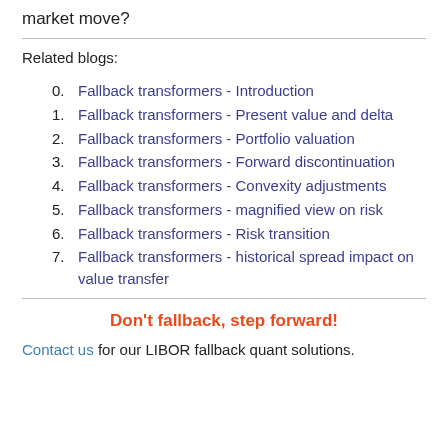market move?
Related blogs:
0. Fallback transformers - Introduction
1. Fallback transformers - Present value and delta
2. Fallback transformers - Portfolio valuation
3. Fallback transformers - Forward discontinuation
4. Fallback transformers - Convexity adjustments
5. Fallback transformers - magnified view on risk
6. Fallback transformers - Risk transition
7. Fallback transformers - historical spread impact on value transfer
Don't fallback, step forward!
Contact us for our LIBOR fallback quant solutions.